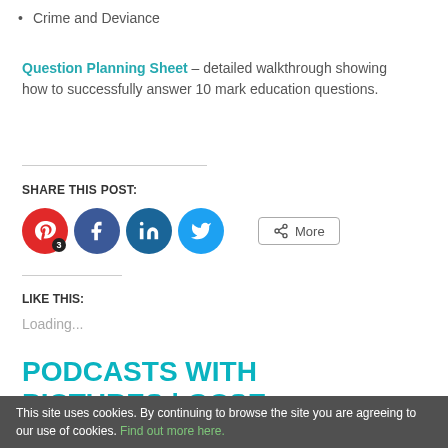Crime and Deviance
Question Planning Sheet – detailed walkthrough showing how to successfully answer 10 mark education questions.
SHARE THIS POST:
[Figure (infographic): Social share buttons: Pinterest (with badge 3), Facebook, LinkedIn, Twitter circles, and a More button]
LIKE THIS:
Loading...
PODCASTS WITH PICTURES | GCSE
Monday, May 20th, 2019
This site uses cookies. By continuing to browse the site you are agreeing to our use of cookies. Find out more here.